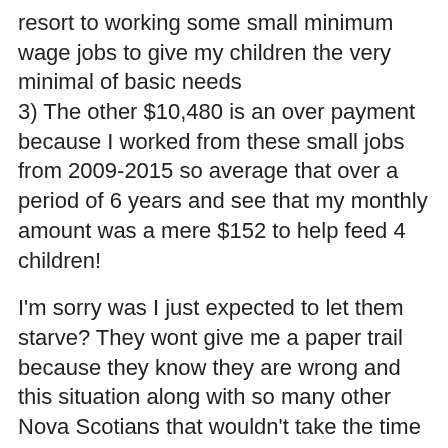resort to working some small minimum wage jobs to give my children the very minimal of basic needs
3) The other $10,480 is an over payment because I worked from these small jobs from 2009-2015 so average that over a period of 6 years and see that my monthly amount was a mere $152 to help feed 4 children!
I'm sorry was I just expected to let them starve? They wont give me a paper trail because they know they are wrong and this situation along with so many other Nova Scotians that wouldn't take the time to fight them. Well I guess you don't know me very well I had no choice but to fight for my rights my whole life. I am 52 years old, the kids have moved out and I couldn't be happier in my job. Just let me go already. The nicest thing you could do for me is